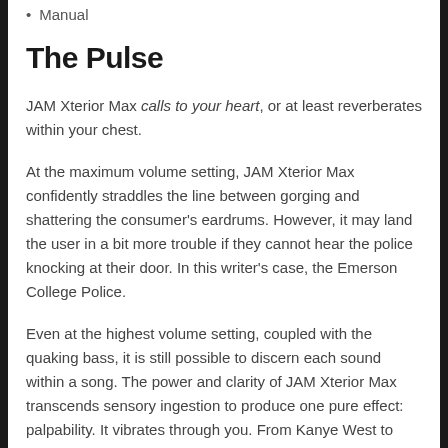Manual
The Pulse
JAM Xterior Max calls to your heart, or at least reverberates within your chest.
At the maximum volume setting, JAM Xterior Max confidently straddles the line between gorging and shattering the consumer's eardrums. However, it may land the user in a bit more trouble if they cannot hear the police knocking at their door. In this writer's case, the Emerson College Police.
Even at the highest volume setting, coupled with the quaking bass, it is still possible to discern each sound within a song. The power and clarity of JAM Xterior Max transcends sensory ingestion to produce one pure effect: palpability. It vibrates through you. From Kanye West to Beethoven, this speaker is just as